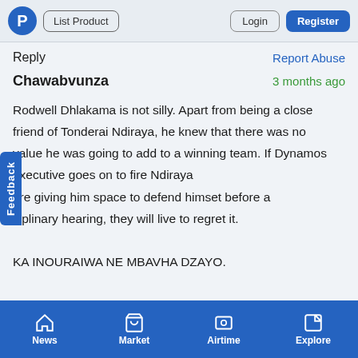P | List Product | Login | Register
Reply   Report Abuse
Chawabvunza   3 months ago
Rodwell Dhlakama is not silly. Apart from being a close friend of Tonderai Ndiraya, he knew that there was no value he was going to add to a winning team. If Dynamos executive goes on to fire Ndiraya before giving him space to defend himset before a disciplinary hearing, they will live to regret it.

KA INOURAIWA NE MBAVHA DZAYO.

NGAAPINDE HAKE CHAMISA.
News | Market | Airtime | Explore